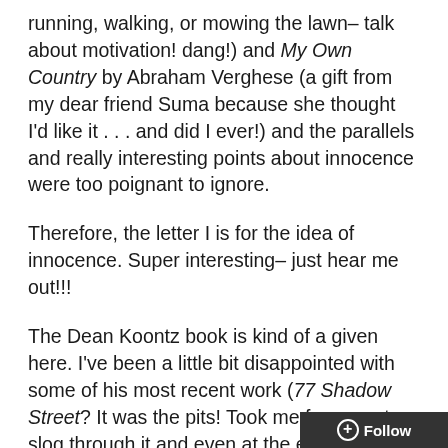running, walking, or mowing the lawn– talk about motivation! dang!) and My Own Country by Abraham Verghese (a gift from my dear friend Suma because she thought I'd like it . . . and did I ever!) and the parallels and really interesting points about innocence were too poignant to ignore.
Therefore, the letter I is for the idea of innocence. Super interesting– just hear me out!!!
The Dean Koontz book is kind of a given here. I've been a little bit disappointed with some of his most recent work (77 Shadow Street? It was the pits! Took me for-ev-er to slog through it and even at the end, I was unable to find any redeeming qualities), but this book captured me pretty much immediately. The basic premise is this: a guy who cannot be seen, a girl who cannot be touched, both social exiles, but things change when they find each other. There's that supernatural Dean Koontz-y element that I lo